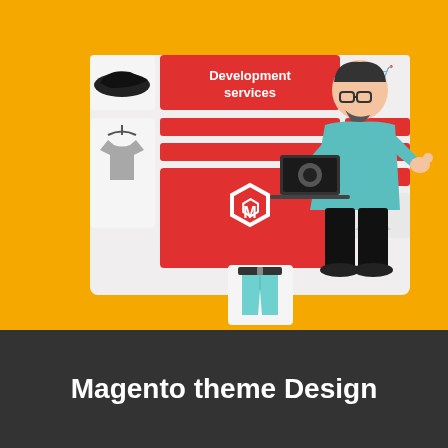[Figure (illustration): Magento e-commerce development services illustration showing a developer holding a laptop, a UI panel with red blocks and Magento logo, and product icons (shoe, t-shirt on hanger, jeans) on an orange background]
Magento theme Design